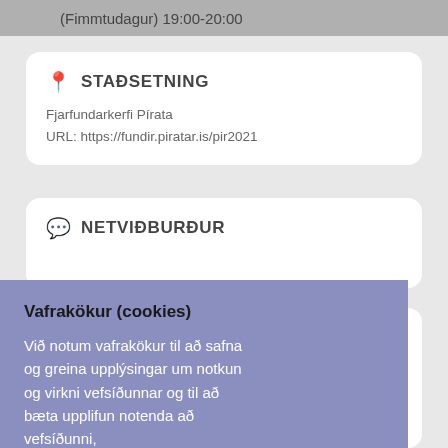(Fimmtudagur) 19:00-20:00
STAÐSETNING
Fjarfundarkerfi Pírata
URL: https://fundir.piratar.is/pir2021
NETVIÐBURÐUR
Vafrakökur (cookies)
Við notum vafrakökur til að safna og greina upplýsingar um notkun og virkni vefsíðunnar og til að bæta upplifun notenda að vefsíðunni,
agsbreytingar breytingar félagsins og s og hvort að sem og ormanninum í forseta. Fundurinn verður á fjarfundakerfi Pírata: